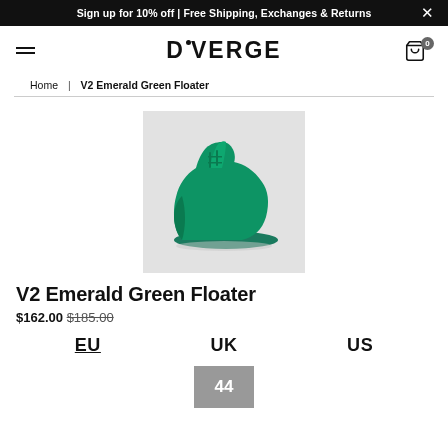Sign up for 10% off | Free Shipping, Exchanges & Returns
[Figure (logo): DIVERGE brand logo with hamburger menu and cart icon]
Home | V2 Emerald Green Floater
[Figure (photo): Emerald green high-top sneaker on light grey background]
V2 Emerald Green Floater
$162.00 $185.00
EU  UK  US
44